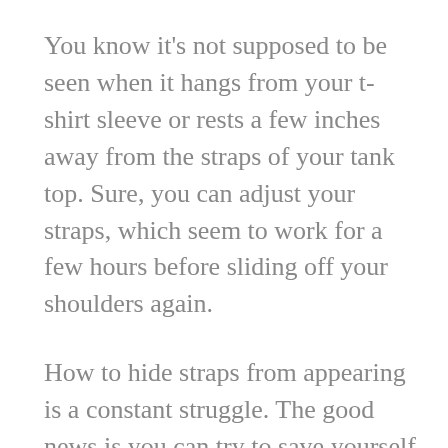You know it's not supposed to be seen when it hangs from your t-shirt sleeve or rests a few inches away from the straps of your tank top. Sure, you can adjust your straps, which seem to work for a few hours before sliding off your shoulders again.
How to hide straps from appearing is a constant struggle. The good news is you can try to save yourself the hassle in more ways than one.